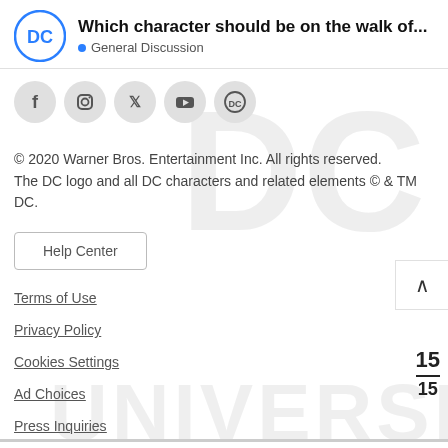Which character should be on the walk of... — General Discussion
[Figure (logo): DC Comics logo circle, blue outline with DC letters]
[Figure (infographic): Social media icons row: Facebook, Instagram, Twitter, YouTube, DC]
© 2020 Warner Bros. Entertainment Inc. All rights reserved.
The DC logo and all DC characters and related elements © & TM DC.
Help Center
Terms of Use
Privacy Policy
Cookies Settings
Ad Choices
Press Inquiries
15 / 15